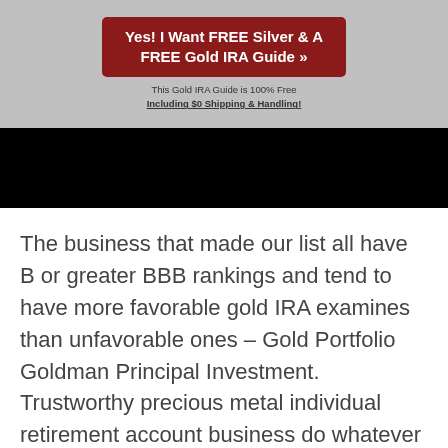[Figure (infographic): Red call-to-action button reading 'Yes! I Want FREE Silver & A FREE Gold IRA Guide »' on a grey background, with text below: 'This Gold IRA Guide is 100% Free Including $0 Shipping & Handling!']
The business that made our list all have B or greater BBB rankings and tend to have more favorable gold IRA examines than unfavorable ones – Gold Portfolio Goldman Principal Investment. Trustworthy precious metal individual retirement account business do whatever they can to acquire brand-new clients, consisting of making the setup procedure as easy and trouble-free as possible. These business enable